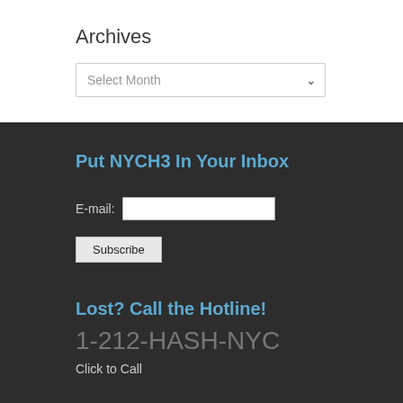Archives
Select Month
Put NYCH3 In Your Inbox
E-mail:
Subscribe
Lost? Call the Hotline!
1-212-HASH-NYC
Click to Call